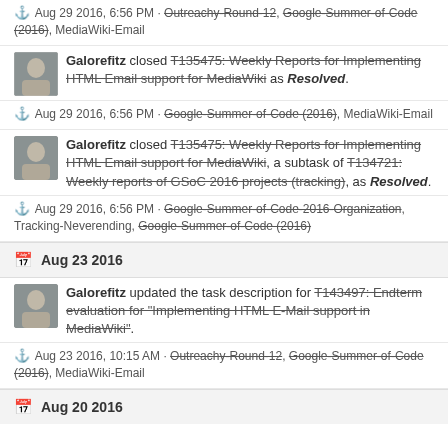⚓ Aug 29 2016, 6:56 PM · Outreachy-Round-12, Google-Summer-of-Code (2016), MediaWiki-Email
Galorefitz closed T135475: Weekly Reports for Implementing HTML Email support for MediaWiki as Resolved.
⚓ Aug 29 2016, 6:56 PM · Google-Summer-of-Code (2016), MediaWiki-Email
Galorefitz closed T135475: Weekly Reports for Implementing HTML Email support for MediaWiki, a subtask of T134721: Weekly reports of GSoC 2016 projects (tracking), as Resolved.
⚓ Aug 29 2016, 6:56 PM · Google-Summer-of-Code-2016-Organization, Tracking-Neverending, Google-Summer-of-Code (2016)
Aug 23 2016
Galorefitz updated the task description for T143497: Endterm evaluation for "Implementing HTML E-Mail support in MediaWiki".
⚓ Aug 23 2016, 10:15 AM · Outreachy-Round-12, Google-Summer-of-Code (2016), MediaWiki-Email
Aug 20 2016